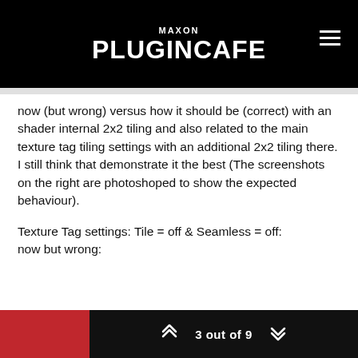MAXON PLUGINCAFE
now (but wrong) versus how it should be (correct) with an shader internal 2x2 tiling and also related to the main texture tag tiling settings with an additional 2x2 tiling there. I still think that demonstrate it the best (The screenshots on the right are photoshoped to show the expected behaviour).
Texture Tag settings: Tile = off & Seamless = off:
now but wrong:
expected and correct:
3 out of 9